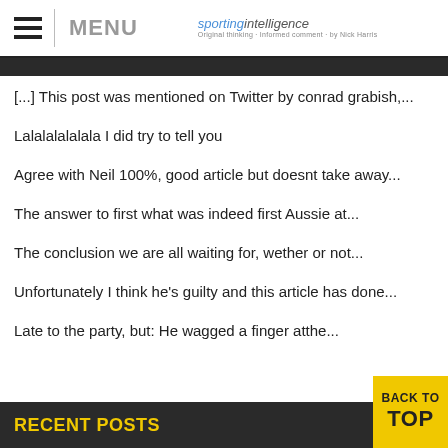MENU | sportingintelligence
[...] This post was mentioned on Twitter by conrad grabish,...
Lalalalalalala I did try to tell you
Agree with Neil 100%, good article but doesnt take away...
The answer to first what was indeed first Aussie at...
The conclusion we are all waiting for, wether or not...
Unfortunately I think he's guilty and this article has done...
Late to the party, but: He wagged a finger atthe...
RECENT POSTS
BACK TO TOP